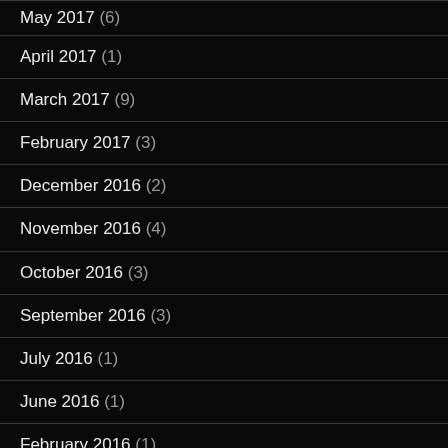May 2017 (6)
April 2017 (1)
March 2017 (9)
February 2017 (3)
December 2016 (2)
November 2016 (4)
October 2016 (3)
September 2016 (3)
July 2016 (1)
June 2016 (1)
February 2016 (1)
January 2016 (2)
November 2015 (1)